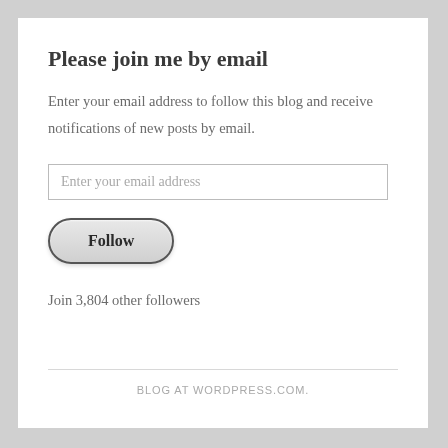Please join me by email
Enter your email address to follow this blog and receive notifications of new posts by email.
Enter your email address
Follow
Join 3,804 other followers
BLOG AT WORDPRESS.COM.